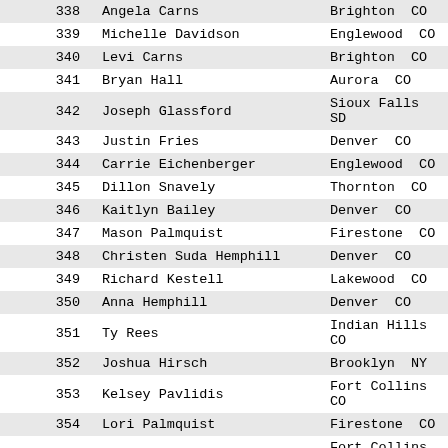| # | Name | City/State |
| --- | --- | --- |
| 338 | Angela Carns | Brighton  CO |
| 339 | Michelle Davidson | Englewood  CO |
| 340 | Levi Carns | Brighton  CO |
| 341 | Bryan Hall | Aurora  CO |
| 342 | Joseph Glassford | Sioux Falls  SD |
| 343 | Justin Fries | Denver  CO |
| 344 | Carrie Eichenberger | Englewood  CO |
| 345 | Dillon Snavely | Thornton  CO |
| 346 | Kaitlyn Bailey | Denver  CO |
| 347 | Mason Palmquist | Firestone  CO |
| 348 | Christen Suda Hemphill | Denver  CO |
| 349 | Richard Kestell | Lakewood  CO |
| 350 | Anna Hemphill | Denver  CO |
| 351 | Ty Rees | Indian Hills  CO |
| 352 | Joshua Hirsch | Brooklyn  NY |
| 353 | Kelsey Pavlidis | Fort Collins  CO |
| 354 | Lori Palmquist | Firestone  CO |
| 355 | Keagan Bodily | Fort Collins  CO |
| 356 | Laurie Bonham | Holiday  FL |